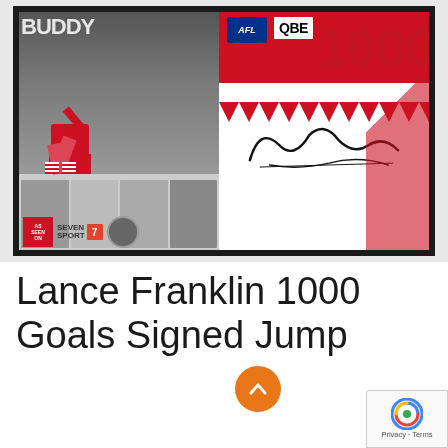[Figure (photo): Lance Franklin 1000 Goals framed memorabilia product showing an AFL Sydney Swans jersey signed by Lance Franklin alongside a black-and-white action photo of the player kicking, with smaller images below. Includes 'As Seen On Seven Sport' badge and AFL/QBE logos.]
Lance Franklin 1000 Goals Signed Jump
$995.00